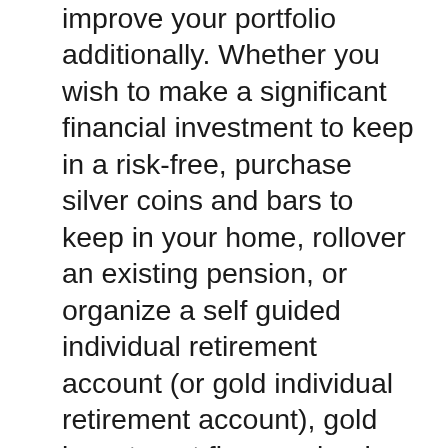improve your portfolio additionally. Whether you wish to make a significant financial investment to keep in a risk-free, purchase silver coins and bars to keep in your home, rollover an existing pension, or organize a self guided individual retirement account (or gold individual retirement account), gold investment firm can lead you in the process.
As a result of the recent media coverage precious metals have actually obtained, a lot more companies are beginning to provide solutions. Of course, with raised competitors comes far better deals for capitalists. Nonetheless, many people find it hard to pick a gold investment firm, from the multitudes of companies available. Inexperienced capitalists are particularly prone to this